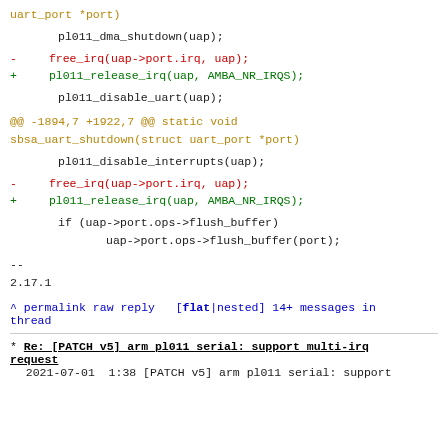uart_port *port)
pl011_dma_shutdown(uap);
-       free_irq(uap->port.irq, uap);
+       pl011_release_irq(uap, AMBA_NR_IRQS);
pl011_disable_uart(uap);
@@ -1894,7 +1922,7 @@ static void sbsa_uart_shutdown(struct uart_port *port)
pl011_disable_interrupts(uap);
-       free_irq(uap->port.irq, uap);
+       pl011_release_irq(uap, AMBA_NR_IRQS);
if (uap->port.ops->flush_buffer)
                uap->port.ops->flush_buffer(port);
--
2.17.1
^ permalink raw reply  [flat|nested] 14+ messages in thread
* Re: [PATCH v5] arm pl011 serial: support multi-irq request
  2021-07-01  1:38 [PATCH v5] arm pl011 serial: support